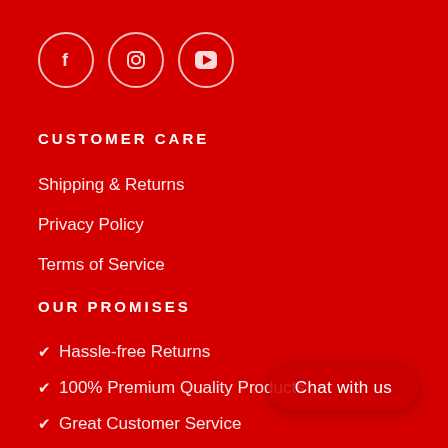[Figure (illustration): Three social media icon circles: Facebook (f), Instagram (camera), YouTube (play button) — white outline circles on red background]
CUSTOMER CARE
Shipping & Returns
Privacy Policy
Terms of Service
OUR PROMISES
✔ Hassle-free Returns
✔ 100% Premium Quality Products
✔ Great Customer Service
✔ Secure payments
Chat with us